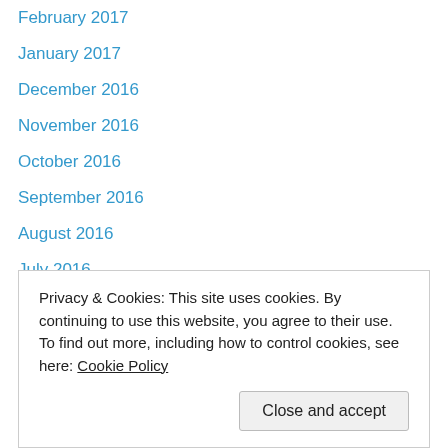February 2017
January 2017
December 2016
November 2016
October 2016
September 2016
August 2016
July 2016
June 2016
May 2016
April 2016
March 2016
February 2016
January 2016
July 2015
Privacy & Cookies: This site uses cookies. By continuing to use this website, you agree to their use.
To find out more, including how to control cookies, see here: Cookie Policy
Close and accept